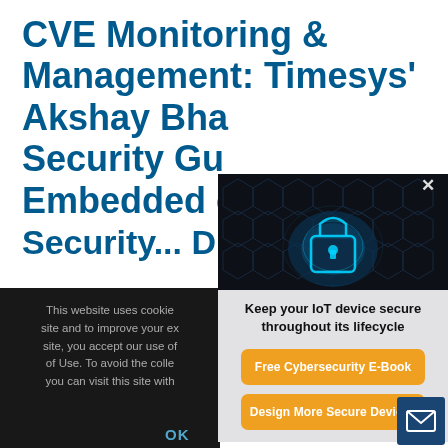CVE Monitoring & Management: Timesys' Akshay Bha... Security Gu... Embedded ... Security... D...
This website uses cookie... site and to improve your ex... site, you accept our use of... of Use. To avoid the colle... you can visit this site with...
[Figure (screenshot): Popup overlay showing a glowing blue padlock on a dark hexagonal background with text 'Keep your IoT device secure throughout its lifecycle' and two orange CTA buttons: 'Free Cybersecurity E-Book' and 'Design More Secure Devices'. A dark bar at bottom shows a cookie consent notice.]
Keep your IoT device secure throughout its lifecycle
Free Cybersecurity E-Book
Design More Secure Devices
OK